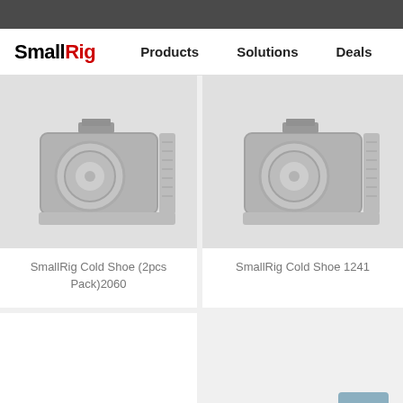SmallRig — Products  Solutions  Deals
[Figure (photo): SmallRig Cold Shoe (2pcs Pack)2060 — camera cage product photo, greyscale]
SmallRig Cold Shoe (2pcs Pack)2060
[Figure (photo): SmallRig Cold Shoe 1241 — camera cage product photo, greyscale]
SmallRig Cold Shoe 1241
[Figure (photo): SmallRig cold shoe accessory product photo, partially visible at bottom of page]